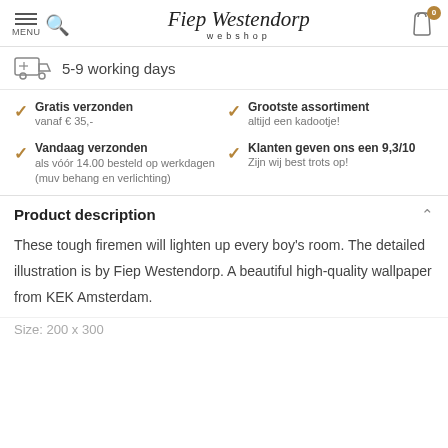Fiep Westendorp webshop
5-9 working days
Gratis verzonden
vanaf € 35,-
Grootste assortiment
altijd een kadootje!
Vandaag verzonden
als vóór 14.00 besteld op werkdagen (muv behang en verlichting)
Klanten geven ons een 9,3/10
Zijn wij best trots op!
Product description
These tough firemen will lighten up every boy's room. The detailed illustration is by Fiep Westendorp. A beautiful high-quality wallpaper from KEK Amsterdam.
Size: 200 x 300